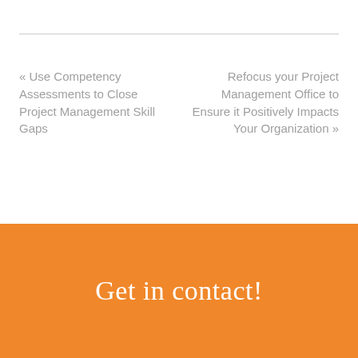« Use Competency Assessments to Close Project Management Skill Gaps
Refocus your Project Management Office to Ensure it Positively Impacts Your Organization »
Get in contact!